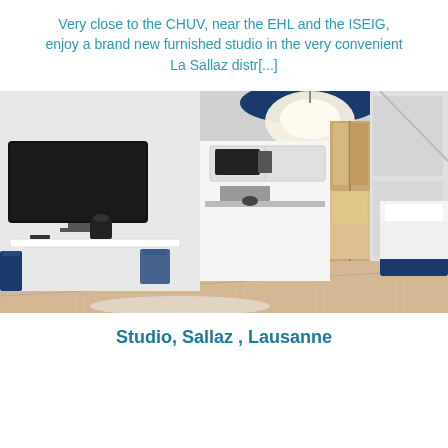Very close to the CHUV, near the EHL and the ISEIG, enjoy a brand new furnished studio in the very convenient La Sallaz distr[...]
[Figure (photo): Interior photo of a modern furnished studio apartment showing a wall-mounted flat screen TV, a white desk with a coffee machine, blue accent chairs, a kitchenette in the background with wooden wardrobe doors, a single bed with blue base, hardwood floors, white walls, and a large blue pendant lamp hanging from the ceiling.]
Studio, Sallaz , Lausanne